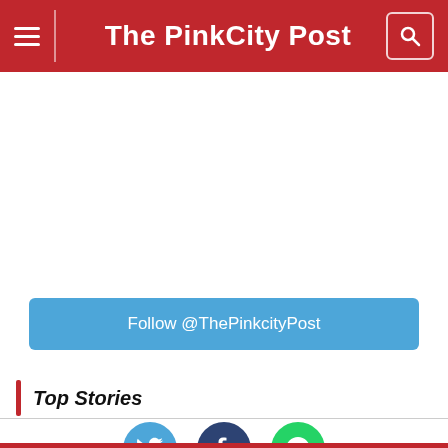The PinkCity Post
Follow @ThePinkcityPost
Top Stories
[Figure (infographic): Social media share icons: Twitter (blue bird), Facebook (dark blue f), WhatsApp (green phone)]